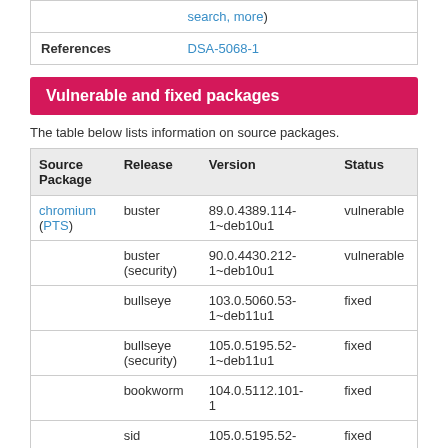|  |  |
| --- | --- |
| References | DSA-5068-1 |
Vulnerable and fixed packages
The table below lists information on source packages.
| Source Package | Release | Version | Status |
| --- | --- | --- | --- |
| chromium (PTS) | buster | 89.0.4389.114-1~deb10u1 | vulnerable |
|  | buster (security) | 90.0.4430.212-1~deb10u1 | vulnerable |
|  | bullseye | 103.0.5060.53-1~deb11u1 | fixed |
|  | bullseye (security) | 105.0.5195.52-1~deb11u1 | fixed |
|  | bookworm | 104.0.5112.101-1 | fixed |
|  | sid | 105.0.5195.52- | fixed |